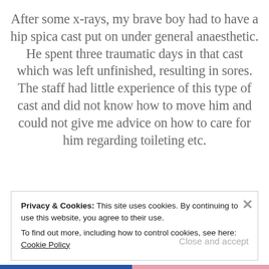After some x-rays, my brave boy had to have a hip spica cast put on under general anaesthetic. He spent three traumatic days in that cast which was left unfinished, resulting in sores. The staff had little experience of this type of cast and did not know how to move him and could not give me advice on how to care for him regarding toileting etc.
Privacy & Cookies: This site uses cookies. By continuing to use this website, you agree to their use. To find out more, including how to control cookies, see here: Cookie Policy
Close and accept